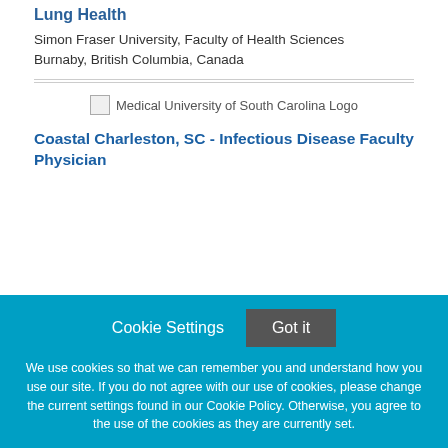Lung Health
Simon Fraser University, Faculty of Health Sciences
Burnaby, British Columbia, Canada
[Figure (logo): Medical University of South Carolina Logo]
Coastal Charleston, SC - Infectious Disease Faculty Physician
Cookie Settings   Got it

We use cookies so that we can remember you and understand how you use our site. If you do not agree with our use of cookies, please change the current settings found in our Cookie Policy. Otherwise, you agree to the use of the cookies as they are currently set.